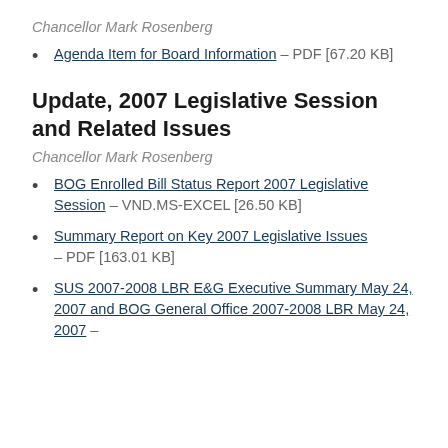Chancellor Mark Rosenberg
Agenda Item for Board Information – PDF [67.20 KB]
Update, 2007 Legislative Session and Related Issues
Chancellor Mark Rosenberg
BOG Enrolled Bill Status Report 2007 Legislative Session – VND.MS-EXCEL [26.50 KB]
Summary Report on Key 2007 Legislative Issues – PDF [163.01 KB]
SUS 2007-2008 LBR E&G Executive Summary May 24, 2007 and BOG General Office 2007-2008 LBR May 24, 2007 –